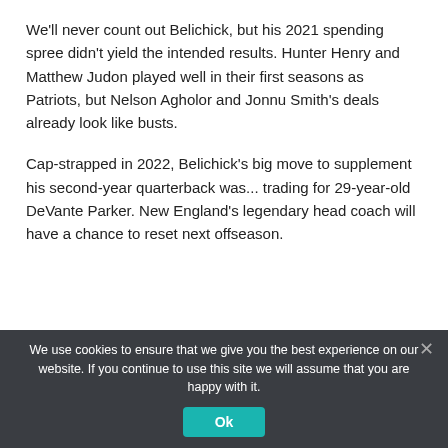We'll never count out Belichick, but his 2021 spending spree didn't yield the intended results. Hunter Henry and Matthew Judon played well in their first seasons as Patriots, but Nelson Agholor and Jonnu Smith's deals already look like busts.
Cap-strapped in 2022, Belichick's big move to supplement his second-year quarterback was... trading for 29-year-old DeVante Parker. New England's legendary head coach will have a chance to reset next offseason.
We use cookies to ensure that we give you the best experience on our website. If you continue to use this site we will assume that you are happy with it.